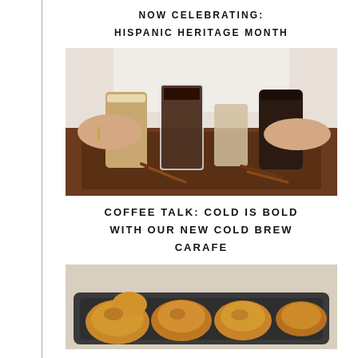NOW CELEBRATING:
HISPANIC HERITAGE MONTH
[Figure (photo): Person holding a tray with multiple coffee drinks including iced coffee and cold brew beverages, with cinnamon sticks on the tray]
COFFEE TALK: COLD IS BOLD WITH OUR NEW COLD BREW CARAFE
[Figure (photo): Roasted chicken pieces in a dark roasting pan]